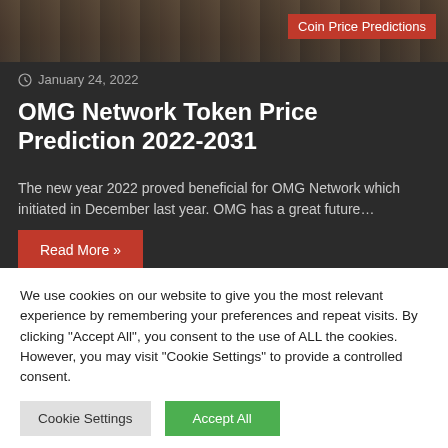[Figure (photo): Blurred/dark image banner at the top of the article]
Coin Price Predictions
January 24, 2022
OMG Network Token Price Prediction 2022-2031
The new year 2022 proved beneficial for OMG Network which initiated in December last year.  OMG has a great future…
Read More »
We use cookies on our website to give you the most relevant experience by remembering your preferences and repeat visits. By clicking "Accept All", you consent to the use of ALL the cookies. However, you may visit "Cookie Settings" to provide a controlled consent.
Cookie Settings
Accept All